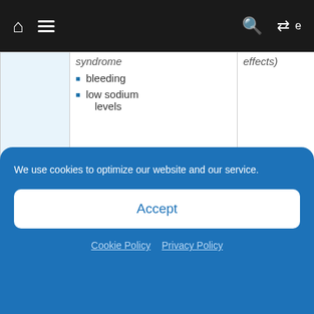Navigation bar with home, menu, search, and shuffle icons
|  | Side effects | (effects) |
| --- | --- | --- |
|  | syndrome
• bleeding
• low sodium levels | effects) |
Effectiveness
The only condition both Trintellix and Prozac are approved to treat is MDD. The effectiveness of
We use cookies to optimize our website and our service.
Accept
Cookie Policy   Privacy Policy